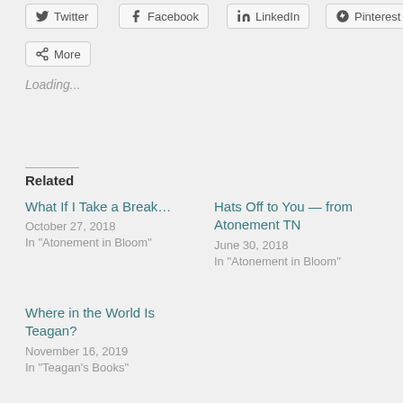Twitter
Facebook
LinkedIn
Pinterest
More
Loading...
Related
What If I Take a Break...
October 27, 2018
In "Atonement in Bloom"
Hats Off to You — from Atonement TN
June 30, 2018
In "Atonement in Bloom"
Where in the World Is Teagan?
November 16, 2019
In "Teagan's Books"